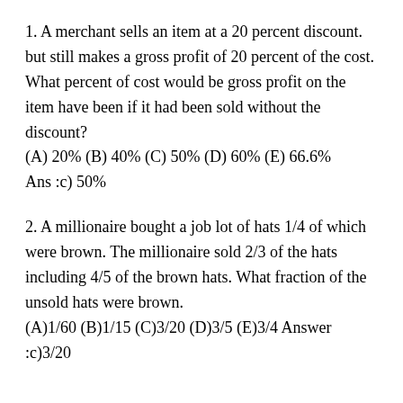1. A merchant sells an item at a 20 percent discount. but still makes a gross profit of 20 percent of the cost. What percent of cost would be gross profit on the item have been if it had been sold without the discount? (A) 20% (B) 40% (C) 50% (D) 60% (E) 66.6% Ans :c) 50%
2. A millionaire bought a job lot of hats 1/4 of which were brown. The millionaire sold 2/3 of the hats including 4/5 of the brown hats. What fraction of the unsold hats were brown. (A)1/60 (B)1/15 (C)3/20 (D)3/5 (E)3/4 Answer :c)3/20